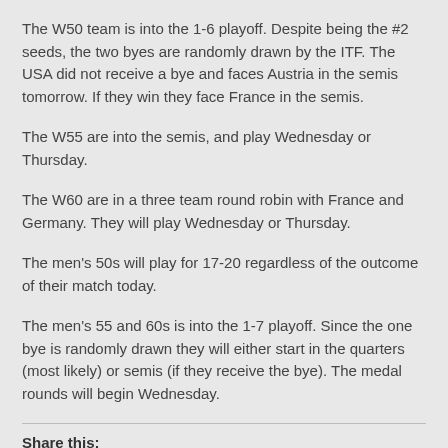The W50 team is into the 1-6 playoff. Despite being the #2 seeds, the two byes are randomly drawn by the ITF. The USA did not receive a bye and faces Austria in the semis tomorrow. If they win they face France in the semis.
The W55 are into the semis, and play Wednesday or Thursday.
The W60 are in a three team round robin with France and Germany. They will play Wednesday or Thursday.
The men's 50s will play for 17-20 regardless of the outcome of their match today.
The men's 55 and 60s is into the 1-7 playoff. Since the one bye is randomly drawn they will either start in the quarters (most likely) or semis (if they receive the bye). The medal rounds will begin Wednesday.
Share this:
Twitter | Facebook | WhatsApp | Email | Print | LinkedIn | Pinterest | Reddit